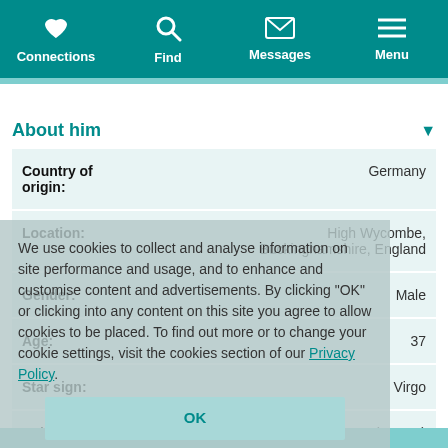[Figure (screenshot): Mobile app navigation bar with teal background showing Connections (heart icon), Find (magnifying glass icon), Messages (envelope icon), and Menu (hamburger icon) navigation items in white]
About him
| Field | Value |
| --- | --- |
| Country of origin: | Germany |
| Location: | High Wycombe, Buckinghamshire, England |
| Gender: | Male |
| Age: | 37 |
| Star sign: | Virgo |
| Height: | 5' 10" (178cm) |
We use cookies to collect and analyse information on site performance and usage, and to enhance and customise content and advertisements. By clicking "OK" or clicking into any content on this site you agree to allow cookies to be placed. To find out more or to change your cookie settings, visit the cookies section of our Privacy Policy.